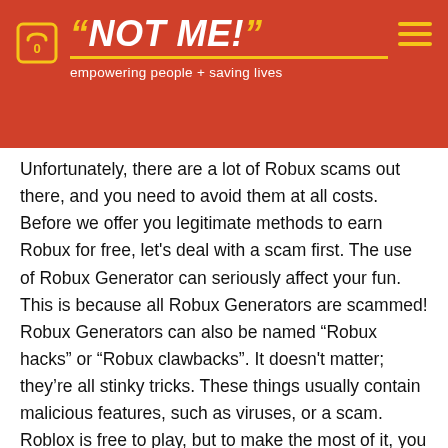"NOT ME!" empowering people + saving lives
Unfortunately, there are a lot of Robux scams out there, and you need to avoid them at all costs. Before we offer you legitimate methods to earn Robux for free, let's deal with a scam first. The use of Robux Generator can seriously affect your fun. This is because all Robux Generators are scammed! Robux Generators can also be named “Robux hacks” or “Robux clawbacks”. It doesn't matter; they’re all stinky tricks. These things usually contain malicious features, such as viruses, or a scam. Roblox is free to play, but to make the most of it, you need Robux. Some suspicious people like to take advantage of this request by making offers that are too good to be true. So as of now it's the ideal opportunity for a couple of incredible gift voucher Generators.